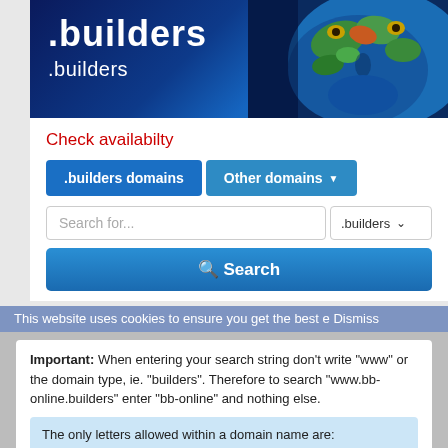[Figure (screenshot): Website banner with .builders domain name in white text on dark blue background, with a person's face painted as a world map globe on the right side]
Check availabilty
[Figure (screenshot): UI with two tab buttons: '.builders domains' (darker blue) and 'Other domains' (lighter blue with dropdown arrow), a search input field with placeholder 'Search for...' and a .builders dropdown, and a blue Search button]
Important: When entering your search string don't write "www" or the domain type, ie. "builders". Therefore to search "www.bb-online.builders" enter "bb-online" and nothing else.
The only letters allowed within a domain name are: a b c d e f g h i j k l m n o p q r s t u v w x y z - 0 1 2 3 4 5 6 7 8 9. Spaces are NOT ALLOWED.